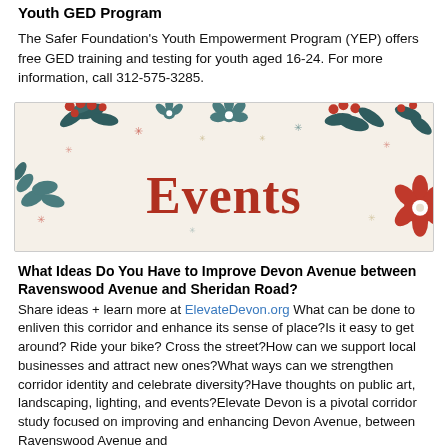Youth GED Program
The Safer Foundation's Youth Empowerment Program (YEP) offers free GED training and testing for youth aged 16-24. For more information, call 312-575-3285.
[Figure (illustration): Decorative holiday-themed banner with floral and berry elements on a cream background with the word 'Events' in large red serif text in the center.]
What Ideas Do You Have to Improve Devon Avenue between Ravenswood Avenue and Sheridan Road?
Share ideas + learn more at ElevateDevon.org What can be done to enliven this corridor and enhance its sense of place?Is it easy to get around? Ride your bike? Cross the street?How can we support local businesses and attract new ones?What ways can we strengthen corridor identity and celebrate diversity?Have thoughts on public art, landscaping, lighting, and events?Elevate Devon is a pivotal corridor study focused on improving and enhancing Devon Avenue, between Ravenswood Avenue and